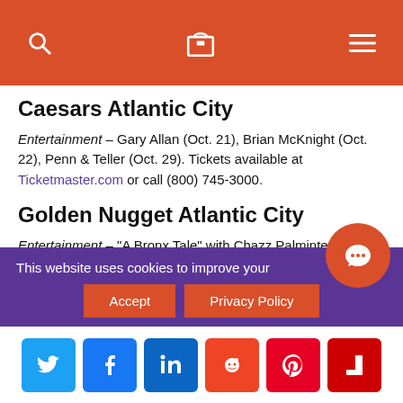Navigation header with search, bag, and menu icons
Caesars Atlantic City
Entertainment – Gary Allan (Oct. 21), Brian McKnight (Oct. 22), Penn & Teller (Oct. 29). Tickets available at Ticketmaster.com or call (800) 745-3000.
Golden Nugget Atlantic City
Entertainment – "A Bronx Tale" with Chazz Palminteri (Oct. 8), The Amazing Kreskin (Oct. 29). For tickets visit the Golden Nugget box office, Ticketmaster.com or call (800) 736-1420.
Events – Smoke on the Water New Jersey State
This website uses cookies to improve your experience.
Social sharing buttons: Twitter, Facebook, LinkedIn, Reddit, Pinterest, Flipboard